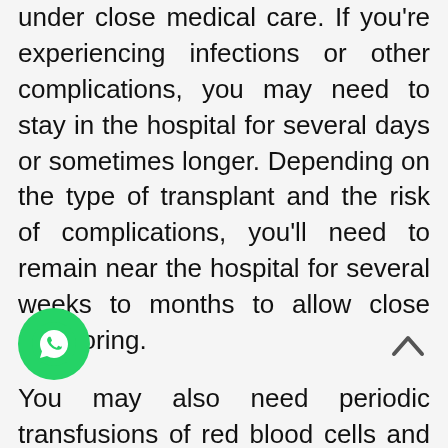under close medical care. If you're experiencing infections or other complications, you may need to stay in the hospital for several days or sometimes longer. Depending on the type of transplant and the risk of complications, you'll need to remain near the hospital for several weeks to months to allow close monitoring.
You may also need periodic transfusions of red blood cells and platelets until your bone marrow begins producing enough of those cells on its own.
You may be at greater risk of infections or other complications for months to years after your transplant. You'll have periodic lifelong follow-up appointments with your doctor to monitor for
[Figure (other): WhatsApp floating action button (green circle with WhatsApp logo)]
[Figure (other): Up arrow / scroll-to-top button]